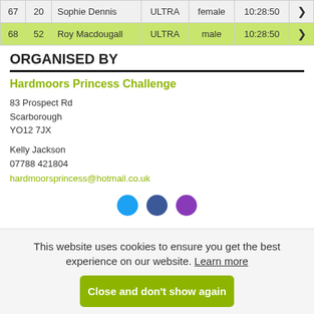|  |  | Name | Category | Gender | Time |  |
| --- | --- | --- | --- | --- | --- | --- |
| 67 | 20 | Sophie Dennis | ULTRA | female | 10:28:50 |  |
| 68 | 52 | Roy Macdougall | ULTRA | male | 10:28:50 |  |
ORGANISED BY
Hardmoors Princess Challenge
83 Prospect Rd
Scarborough
YO12 7JX
Kelly Jackson
07788 421804
hardmoorsprincess@hotmail.co.uk
[Figure (other): Three social media icon circles: Twitter (blue), Facebook (dark blue), Instagram (purple)]
This website uses cookies to ensure you get the best experience on our website. Learn more
Close and don't show again